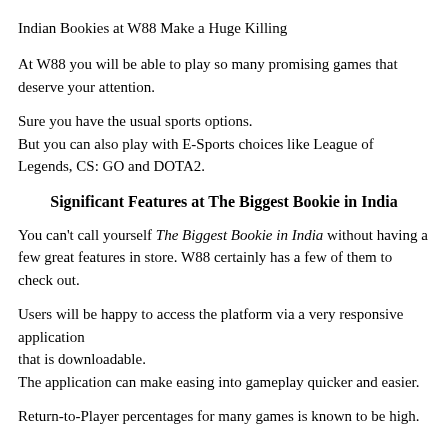Indian Bookies at W88 Make a Huge Killing
At W88 you will be able to play so many promising games that deserve your attention.
Sure you have the usual sports options.
But you can also play with E-Sports choices like League of Legends, CS: GO and DOTA2.
Significant Features at The Biggest Bookie in India
You can't call yourself The Biggest Bookie in India without having a few great features in store. W88 certainly has a few of them to check out.
Users will be happy to access the platform via a very responsive application
that is downloadable.
The application can make easing into gameplay quicker and easier.
Return-to-Player percentages for many games is known to be high.